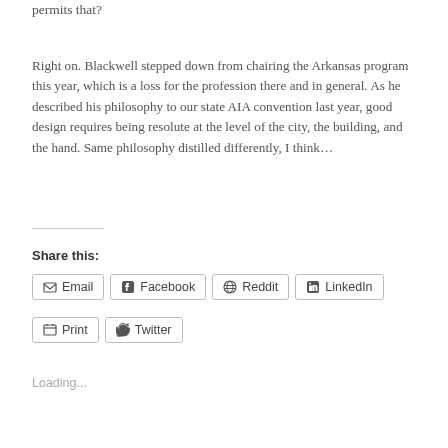permits that?
Right on.  Blackwell stepped down from chairing the Arkansas program this year, which is a loss for the profession there and in general.  As he described his philosophy to our state AIA convention last year, good design requires being resolute at the level of the city, the building, and the hand.  Same philosophy distilled differently, I think…
Share this:
Email
Facebook
Reddit
LinkedIn
Print
Twitter
Loading...